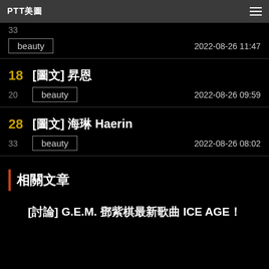PTT美圖
33 | beauty | 2022-08-26 11:47
18 [圖文] 昇恩 | 20 beauty | 2022-08-26 09:59
28 [圖文] 海琳 Haerin | 33 beauty | 2022-08-26 08:02
相關文章
[討論] G.E.M. 鄧紫棋最新歌曲 ICE AGE！